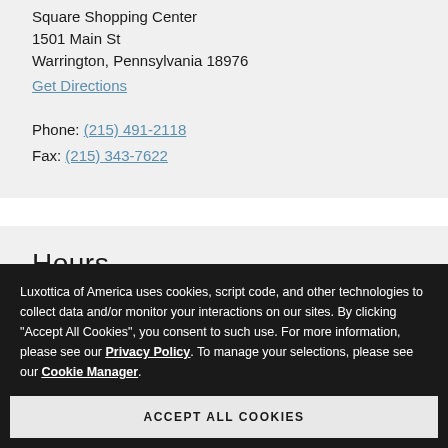Square Shopping Center
1501 Main St
Warrington, Pennsylvania 18976
Get Directions
Phone: (215) 491-2118
Fax: (215) 343-7622
Hours
Luxottica of America uses cookies, script code, and other technologies to collect data and/or monitor your interactions on our sites. By clicking "Accept All Cookies", you consent to such use. For more information, please see our Privacy Policy. To manage your selections, please see our Cookie Manager.
ACCEPT ALL COOKIES